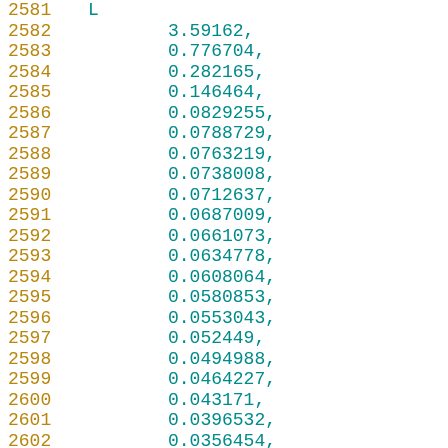2581  L
2582  3.59162,
2583  0.776704,
2584  0.282165,
2585  0.146464,
2586  0.0829255,
2587  0.0788729,
2588  0.0763219,
2589  0.0738008,
2590  0.0712637,
2591  0.0687009,
2592  0.0661073,
2593  0.0634778,
2594  0.0608064,
2595  0.0580853,
2596  0.0553043,
2597  0.052449,
2598  0.0494988,
2599  0.0464227,
2600  0.043171,
2601  0.0396532,
2602  0.0356454,